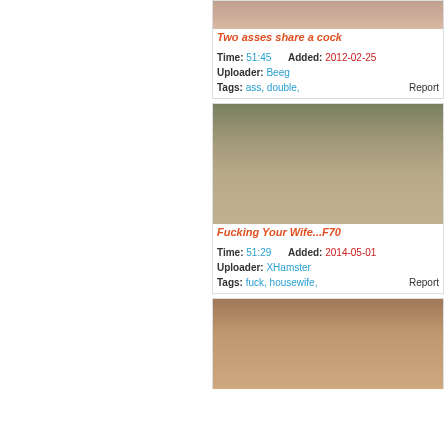[Figure (photo): Video thumbnail - partial image at top]
Two asses share a cock
Time: 51:45   Added: 2012-02-25
Uploader: Beeg
Tags: ass, double,   Report
[Figure (photo): Video thumbnail - couple on couch scene]
Fucking Your Wife...F70
Time: 51:29   Added: 2014-05-01
Uploader: XHamster
Tags: fuck, housewife,   Report
[Figure (photo): Video thumbnail - third video partial image]